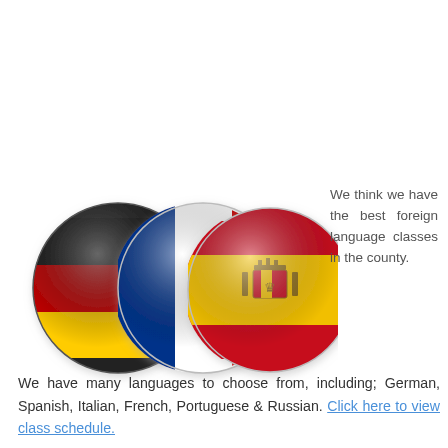[Figure (illustration): Three circular glossy flag buttons overlapping: German flag (black/red/yellow), French flag (blue/white/red), and Spanish flag (red/yellow/red with coat of arms)]
We think we have the best foreign language classes in the county.
We have many languages to choose from, including; German, Spanish, Italian, French, Portuguese & Russian. Click here to view class schedule.